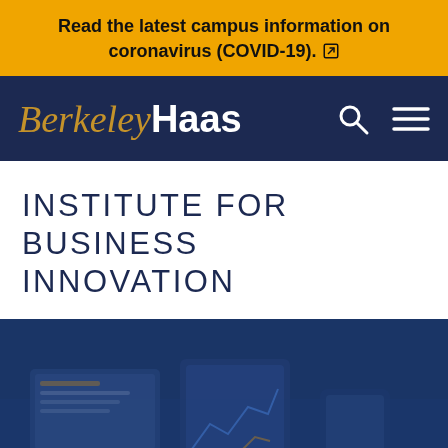Read the latest campus information on coronavirus (COVID-19).
[Figure (logo): Berkeley Haas logo with search and menu icons on dark navy navbar]
INSTITUTE FOR BUSINESS INNOVATION
[Figure (photo): Hero image showing business technology scene with blue overlay tint — laptops, tablets, digital analytics screens on a desk]